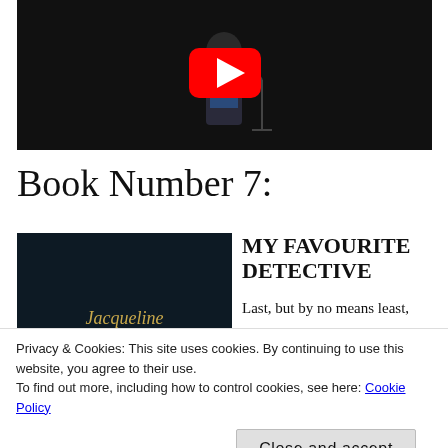[Figure (screenshot): YouTube video thumbnail showing a person on stage holding a microphone, dark background, with a red YouTube play button overlay in the center.]
Book Number 7:
[Figure (photo): Book cover with dark background showing author name 'Jacqueline Winspear' in golden/yellow text.]
MY FAVOURITE DETECTIVE
Last, but by no means least,
Privacy & Cookies: This site uses cookies. By continuing to use this website, you agree to their use.
To find out more, including how to control cookies, see here: Cookie Policy
Close and accept
[Figure (photo): Partial view of another book cover with dark blue/navy background.]